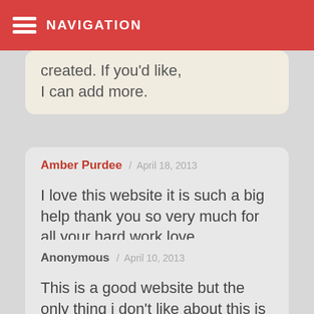NAVIGATION
resources that I created. If you'd like, I can add more.
Amber Purdee / April 18, 2013

I love this website it is such a big help thank you so very much for all your hard work love yall!!!!!!!!!!!!!!! Bye!!!!!!!!
Anonymous / April 10, 2013

This is a good website but the only thing i don't like about this is that if you get a